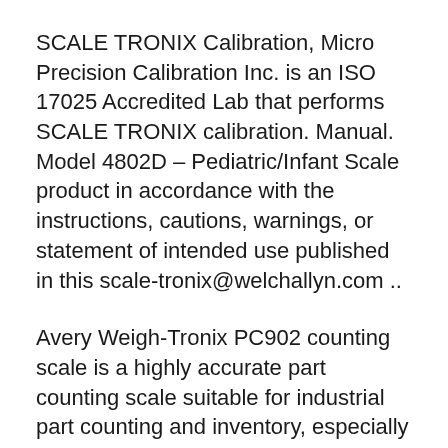SCALE TRONIX Calibration, Micro Precision Calibration Inc. is an ISO 17025 Accredited Lab that performs SCALE TRONIX calibration. Manual. Model 4802D – Pediatric/Infant Scale product in accordance with the instructions, cautions, warnings, or statement of intended use published in this scale-tronix@welchallyn.com ..
Avery Weigh-Tronix PC902 counting scale is a highly accurate part counting scale suitable for industrial part counting and inventory, especially when the parts are very light. These high precision scales digital counting scales can weigh parts as light as 0.0002